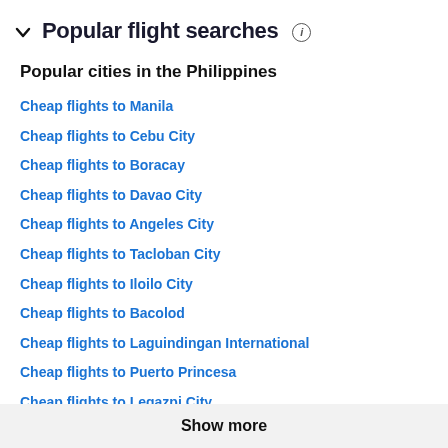Popular flight searches
Popular cities in the Philippines
Cheap flights to Manila
Cheap flights to Cebu City
Cheap flights to Boracay
Cheap flights to Davao City
Cheap flights to Angeles City
Cheap flights to Tacloban City
Cheap flights to Iloilo City
Cheap flights to Bacolod
Cheap flights to Laguindingan International
Cheap flights to Puerto Princesa
Cheap flights to Legazpi City
Cheap flights to Butuan
Show more